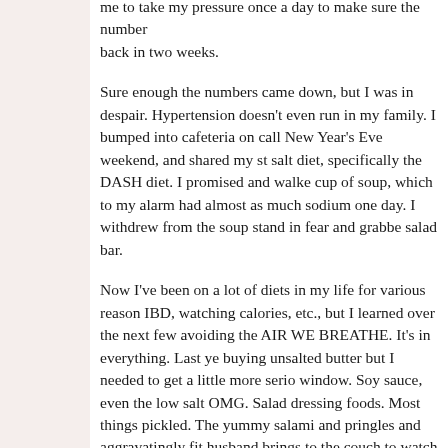me to take my pressure once a day to make sure the numbers came down. Come back in two weeks.
Sure enough the numbers came down, but I was in despair. Hypertension doesn't even run in my family. I bumped into cafeteria on call New Year's Eve weekend, and shared my story. Low salt diet, specifically the DASH diet. I promised and walked over to get a cup of soup, which to my alarm had almost as much sodium as I should have one day. I withdrew from the soup stand in fear and grabbed something at the salad bar.
Now I've been on a lot of diets in my life for various reasons. Crohn's/IBD, watching calories, etc., but I learned over the next few months that avoiding the AIR WE BREATHE. It's in everything. Last year I started buying unsalted butter but I needed to get a little more serious after that window. Soy sauce, even the low salt OMG. Salad dressings. Canned foods. Most things pickled. The yummy salami and pringles and chips and aggravatingly fit husband brings to the couch to watch TV every Friday night; somehow he can do this whether he's riding his bike obsessively for months and gains not an ounce of fat. My body is not so for